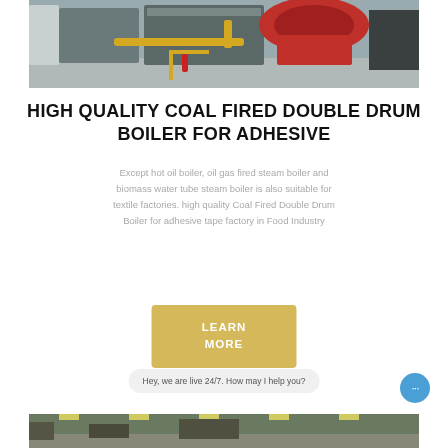[Figure (photo): Industrial coal fired double drum boiler in a factory setting, with yellow pipes and red equipment visible]
HIGH QUALITY COAL FIRED DOUBLE DRUM BOILER FOR ADHESIVE
Except hot oil boiler, oil gas fired steam boiler and biomass water tube steam boiler is also suitable for textile factories. high quality Coal Fired Double Drum Boiler for adhesive tape factory in Food Industry
LEARN MORE
Hey, we are live 24/7. How may I help you?
[Figure (photo): Bottom partial photo showing an industrial facility interior with bright lighting]